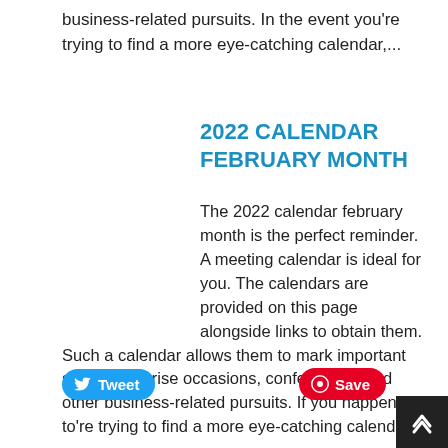business-related pursuits. In the event you're trying to find a more eye-catching calendar,...
2022 CALENDAR FEBRUARY MONTH
The 2022 calendar february month is the perfect reminder. A meeting calendar is ideal for you. The calendars are provided on this page alongside links to obtain them. Such a calendar allows them to mark important small enterprise occasions, conferences, and other business-related pursuits. If you happen to're trying to find a more eye-catching calendar,...